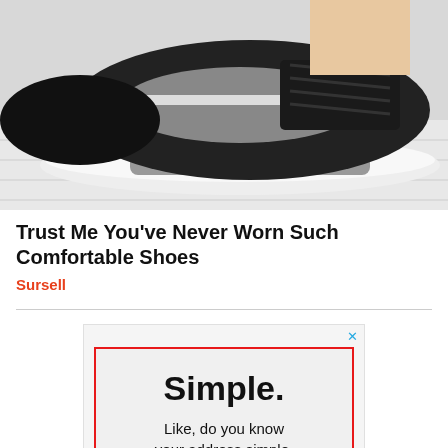[Figure (photo): Close-up photo of a person wearing a black and grey knit sneaker shoe with white sole, placed on a white wooden floor surface.]
Trust Me You've Never Worn Such Comfortable Shoes
Sursell
[Figure (infographic): Advertisement with a light grey background and red border. Large bold text reads 'Simple.' followed by smaller text 'Like, do you know your address simple.' There is a cyan close (x) button in the upper right corner.]